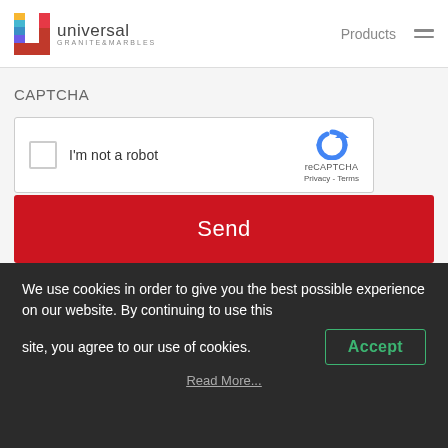universal GRANITE&MARBLES | Products
CAPTCHA
[Figure (screenshot): reCAPTCHA widget with checkbox labeled 'I'm not a robot' and reCAPTCHA logo with Privacy - Terms links]
Send
We use cookies in order to give you the best possible experience on our website. By continuing to use this site, you agree to our use of cookies.
Accept
Read More...